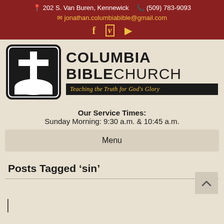202 S. Van Buren, Kennewick  (509) 783-9093  jonathan.columbiabible@gmail.com
[Figure (logo): Columbia Bible Church logo with cross on open Bible, black and white, with tagline 'Teaching the Truth for God's Glory']
Our Service Times:
Sunday Morning: 9:30 a.m. & 10:45 a.m.
Menu
Posts Tagged ‘sin’